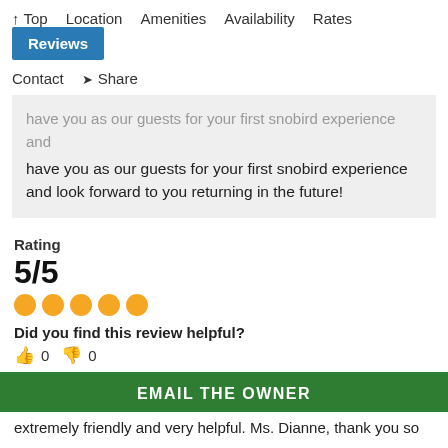↑ Top  Location  Amenities  Availability  Rates  Reviews  Contact  ➤ Share
have you as our guests for your first snobird experience and look forward to you returning in the future!
Rating
5/5
★★★★★
Did you find this review helpful?
👍 0  👎 0
Family Vacation
Our family of 5 very much enjoyed our stay! The unit was just as described and Dianne was a WONDERFUL host. The view from the balcony was breathtaking. The beach was secluded and the
EMAIL THE OWNER
extremely friendly and very helpful. Ms. Dianne, thank you so